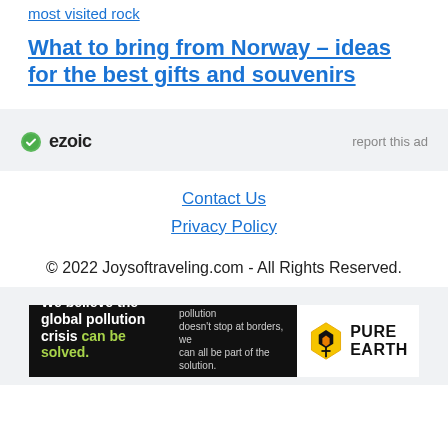most visited rock
What to bring from Norway – ideas for the best gifts and souvenirs
[Figure (other): Ezoic advertisement placeholder with ezoic logo and 'report this ad' link]
Contact Us
Privacy Policy
© 2022 Joysoftraveling.com - All Rights Reserved.
[Figure (other): Pure Earth banner ad: 'We believe the global pollution crisis can be solved.' with Pure Earth logo]